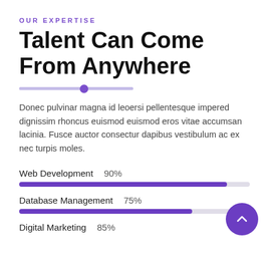OUR EXPERTISE
Talent Can Come From Anywhere
Donec pulvinar magna id leoersi pellentesque impered dignissim rhoncus euismod euismod eros vitae accumsan lacinia. Fusce auctor consectur dapibus vestibulum ac ex nec turpis moles.
[Figure (infographic): Horizontal progress bars showing skill percentages. Web Development 90%, Database Management 75%, Digital Marketing 85%]
[Figure (other): Purple circular button with upward chevron arrow (scroll-to-top button)]